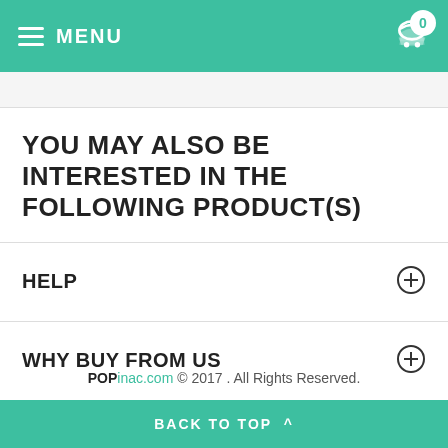MENU  0
YOU MAY ALSO BE INTERESTED IN THE FOLLOWING PRODUCT(S)
HELP
WHY BUY FROM US
CONTACT
POPinac.com © 2017 . All Rights Reserved.
BACK TO TOP ^